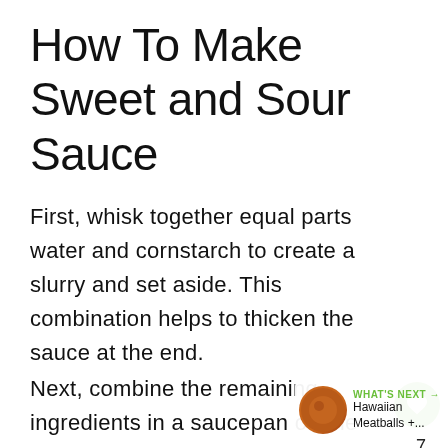How To Make Sweet and Sour Sauce
First, whisk together equal parts water and cornstarch to create a slurry and set aside. This combination helps to thicken the sauce at the end.
Next, combine the remaining ingredients in a saucepan on the stove. Boil for about 1 minute, then stir in the slurry and simmer for another 5 minutes until thick and shiny.